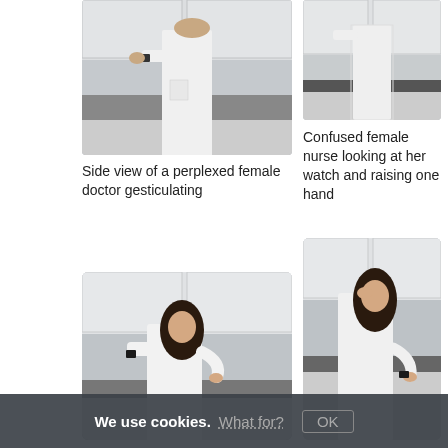[Figure (photo): Side view of a woman in a white doctor/lab coat gesticulating, standing in front of white kitchen cabinets, looking at her wrist watch with one arm raised]
[Figure (photo): Woman in white nurse/lab coat standing in front of white kitchen cabinets, upper body visible, raising one hand]
Side view of a perplexed female doctor gesticulating
Confused female nurse looking at her watch and raising one hand
[Figure (photo): Woman in white lab coat looking at her watch, gesturing with hand, standing in kitchen with white cabinets]
[Figure (photo): Woman in white lab coat touching her head with one hand and gesturing with the other, standing in kitchen]
We use cookies. What for? OK